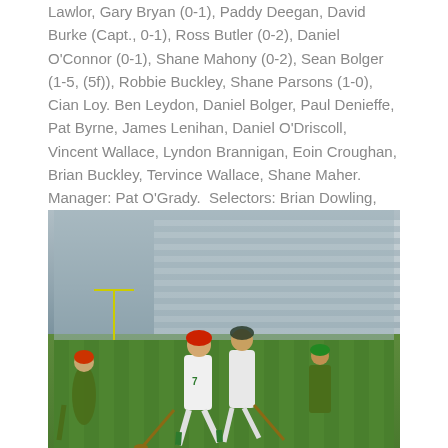Lawlor, Gary Bryan (0-1), Paddy Deegan, David Burke (Capt., 0-1), Ross Butler (0-2), Daniel O'Connor (0-1), Shane Mahony (0-2), Sean Bolger (1-5, (5f)), Robbie Buckley, Shane Parsons (1-0), Cian Loy. Ben Leydon, Daniel Bolger, Paul Denieffe, Pat Byrne, James Lenihan, Daniel O'Driscoll, Vincent Wallace, Lyndon Brannigan, Eoin Croughan, Brian Buckley, Tervince Wallace, Shane Maher. Manager: Pat O'Grady.  Selectors: Brian Dowling, Brian Hogan, Paul Cleere, Mark Bergin
[Figure (photo): Hurling match photo showing players in white/green and green/yellow jerseys competing on a GAA pitch with stadium stands visible in the background.]